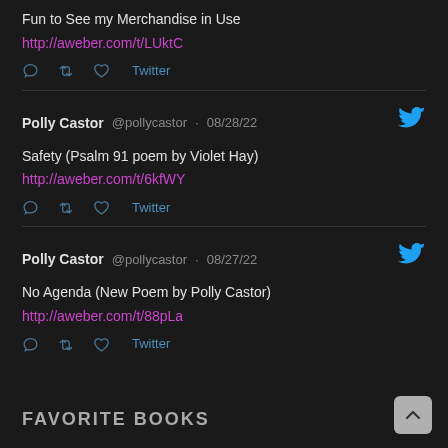Fun to See my Merchandise in Use
http://aweber.com/t/LUktC
Polly Castor @pollycastor · 08/28/22
Safety (Psalm 91 poem by Violet Hay)
http://aweber.com/t/6kfWY
Polly Castor @pollycastor · 08/27/22
No Agenda (New Poem by Polly Castor)
http://aweber.com/t/88pLa
FAVORITE BOOKS